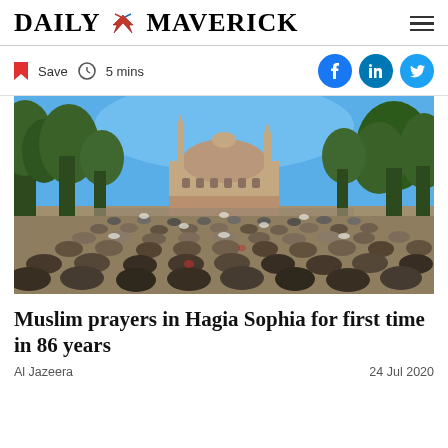DAILY MAVERICK
Save  5 mins
[Figure (photo): Large crowd of Muslim worshippers praying outdoors in front of Hagia Sophia, Istanbul, under a clear blue sky with trees on both sides. The historic domed building is visible in the background.]
Muslim prayers in Hagia Sophia for first time in 86 years
Al Jazeera   24 Jul 2020